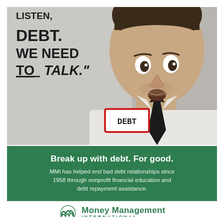[Figure (photo): A surprised-looking man in a white dress shirt and black tie, wearing a name tag that reads 'DEBT'. Large bold text overlay on the left reads: 'LISTEN, DEBT. WE NEED TO TALK.' The background is gray. This is an advertisement photo.]
Break up with debt. For good.
MMI has helped end bad debt relationships since 1958 through nonprofit financial education and debt repayment assistance.
[Figure (logo): Money Management International logo — stylized double-M swirl icon in green, followed by text 'Money Management' in large bold green, and 'INTERNATIONAL' in small spaced green caps below.]